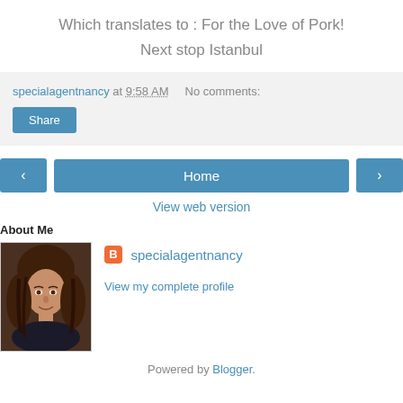Which translates to : For the Love of Pork!
Next stop Istanbul
specialagentnancy at 9:58 AM    No comments:
Share
‹   Home   ›
View web version
About Me
[Figure (photo): Profile photo of specialagentnancy, a woman with brown hair]
specialagentnancy
View my complete profile
Powered by Blogger.